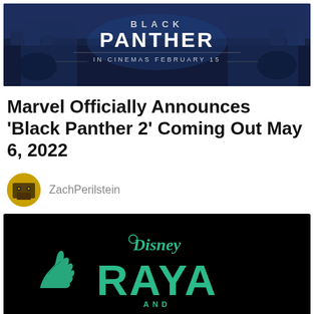[Figure (photo): Black Panther movie promotional banner showing characters and text 'BLACK PANTHER IN CINEMAS FEBRUARY 15']
Marvel Officially Announces 'Black Panther 2' Coming Out May 6, 2022
ZachPerilstein
[Figure (logo): Disney Raya and the Last Dragon movie title card on black background with teal/green text]